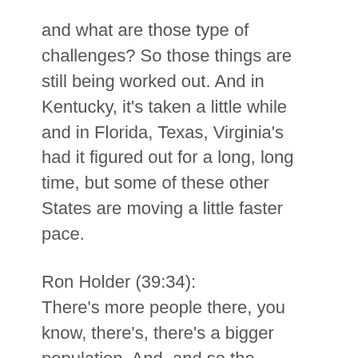and what are those type of challenges? So those things are still being worked out. And in Kentucky, it's taken a little while and in Florida, Texas, Virginia's had it figured out for a long, long time, but some of these other States are moving a little faster pace.
Ron Holder (39:34):
There's more people there, you know, there's, there's a bigger population. And, and so the platforms are going to spend more time in perfecting their, their software in those States. That make sense